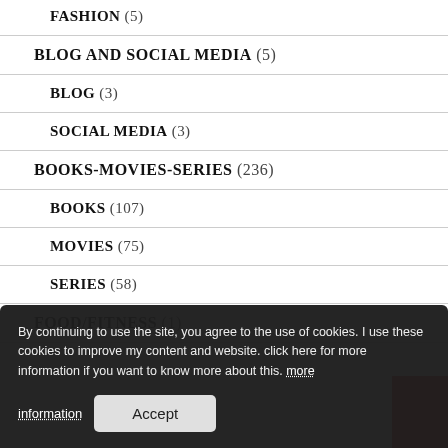FASHION (5)
BLOG AND SOCIAL MEDIA (5)
BLOG (3)
SOCIAL MEDIA (3)
BOOKS-MOVIES-SERIES (236)
BOOKS (107)
MOVIES (75)
SERIES (58)
FOOD/FITNESS (1)
FITNESS (1)
LIFESTYLE (196)
LIFESTYLE (86)
MINDSET (43)
By continuing to use the site, you agree to the use of cookies. I use these cookies to improve my content and website. click here for more information if you want to know more about this. more information Accept